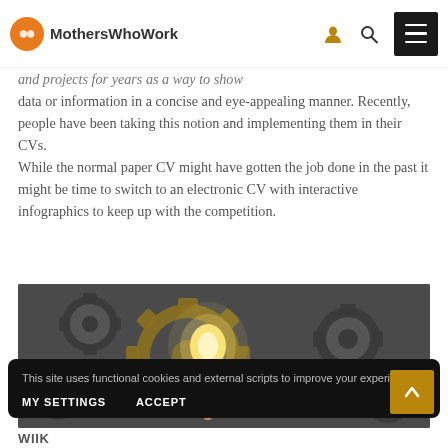MothersWhoWork
and projects for years as a way to show data or information in a concise and eye-appealing manner. Recently, people have been taking this notion and implementing them in their CVs. While the normal paper CV might have gotten the job done in the past it might be time to switch to an electronic CV with interactive infographics to keep up with the competition.
[Figure (photo): A hand holding a glowing light bulb against a background of golden and grey interlocking gears]
This site uses functional cookies and external scripts to improve your experience. MY SETTINGS  ACCEPT